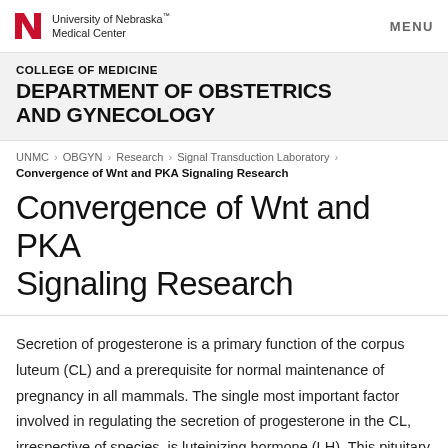University of Nebraska Medical Center | MENU
COLLEGE OF MEDICINE
DEPARTMENT OF OBSTETRICS AND GYNECOLOGY
UNMC › OBGYN › Research › Signal Transduction Laboratory ›
Convergence of Wnt and PKA Signaling Research
Convergence of Wnt and PKA Signaling Research
Secretion of progesterone is a primary function of the corpus luteum (CL) and a prerequisite for normal maintenance of pregnancy in all mammals. The single most important factor involved in regulating the secretion of progesterone in the CL, irrespective of species, is luteinizing hormone (LH). This pituitary